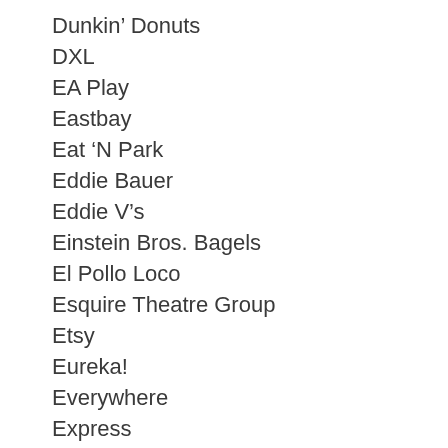Dunkin’ Donuts
DXL
EA Play
Eastbay
Eat ‘N Park
Eddie Bauer
Eddie V’s
Einstein Bros. Bagels
El Pollo Loco
Esquire Theatre Group
Etsy
Eureka!
Everywhere
Express
Exxon/Mobil
Fabletics
Fairmont